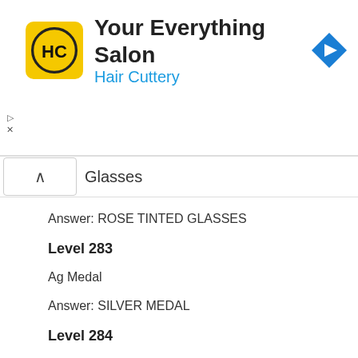[Figure (logo): Hair Cuttery advertisement banner with yellow HC logo, title 'Your Everything Salon', subtitle 'Hair Cuttery' in blue, and a blue navigation arrow icon]
Glasses
Answer: ROSE TINTED GLASSES
Level 283
Ag Medal
Answer: SILVER MEDAL
Level 284
Spot X